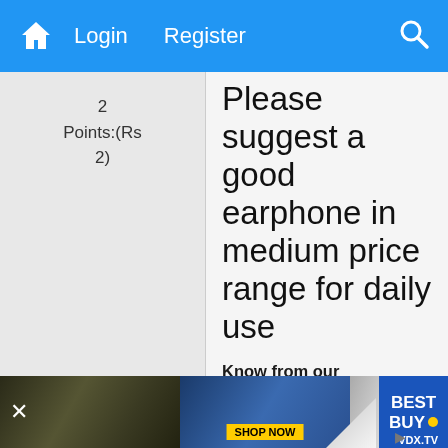Login  Register
2
Points:(Rs 2)
Please suggest a good earphone in medium price range for daily use
Know from our audiophiles how to select the best earphones for your daily use which provide the best audio quality while making sure you don't degrade your listening capacity.
We are using earphones (earbuds) for hearing songs or communicating with
VDX.TV